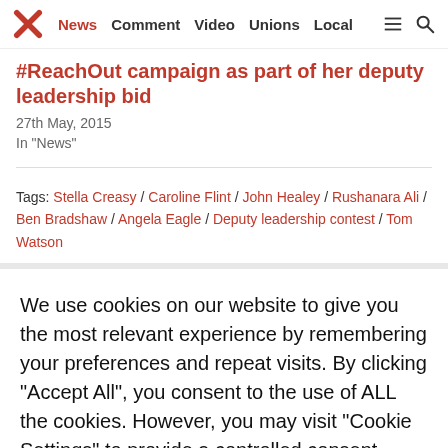News / Comment / Video / Unions / Local
#ReachOut campaign as part of her deputy leadership bid
27th May, 2015
In "News"
Tags: Stella Creasy / Caroline Flint / John Healey / Rushanara Ali / Ben Bradshaw / Angela Eagle / Deputy leadership contest / Tom Watson
We use cookies on our website to give you the most relevant experience by remembering your preferences and repeat visits. By clicking “Accept All”, you consent to the use of ALL the cookies. However, you may visit "Cookie Settings" to provide a controlled consent.